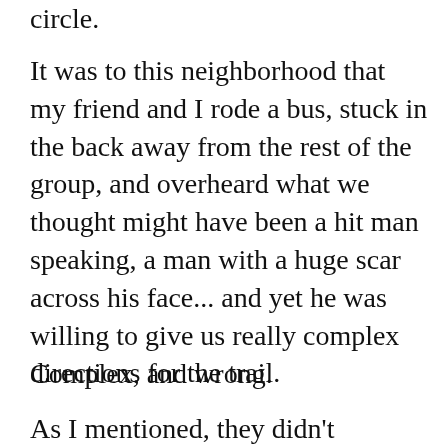circle.
It was to this neighborhood that my friend and I rode a bus, stuck in the back away from the rest of the group, and overheard what we thought might have been a hit man speaking, a man with a huge scar across his face... and yet he was willing to give us really complex directions for the trail.
Complex, and wrong.
As I mentioned, they didn't